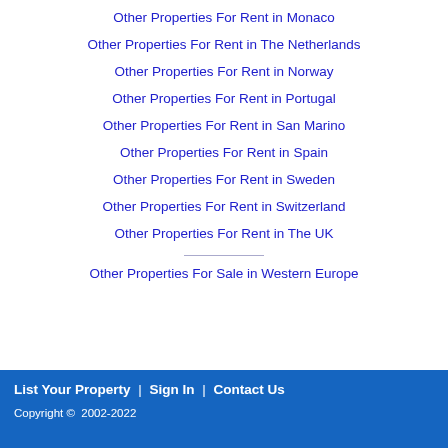Other Properties For Rent in Monaco
Other Properties For Rent in The Netherlands
Other Properties For Rent in Norway
Other Properties For Rent in Portugal
Other Properties For Rent in San Marino
Other Properties For Rent in Spain
Other Properties For Rent in Sweden
Other Properties For Rent in Switzerland
Other Properties For Rent in The UK
Other Properties For Sale in Western Europe
List Your Property  |  Sign In  |  Contact Us
Copyright ©  2002-2022